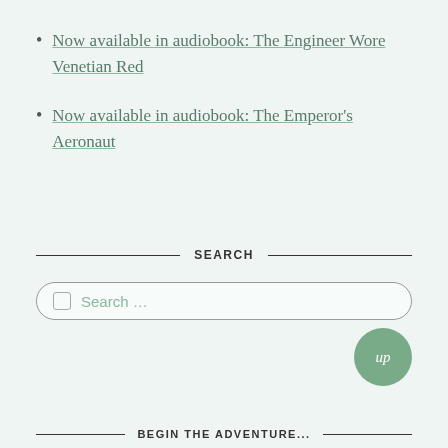Now available in audiobook: The Engineer Wore Venetian Red
Now available in audiobook: The Emperor's Aeronaut
SEARCH
Search ...
BEGIN THE ADVENTURE...